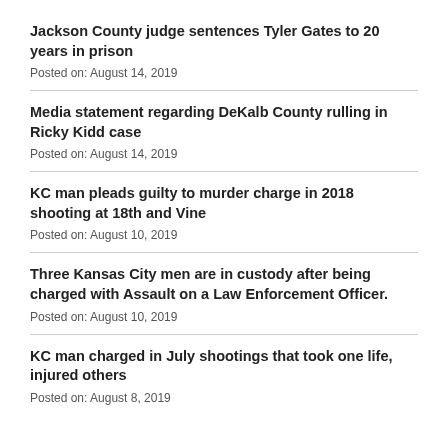Jackson County judge sentences Tyler Gates to 20 years in prison
Posted on: August 14, 2019
Media statement regarding DeKalb County rulling in Ricky Kidd case
Posted on: August 14, 2019
KC man pleads guilty to murder charge in 2018 shooting at 18th and Vine
Posted on: August 10, 2019
Three Kansas City men are in custody after being charged with Assault on a Law Enforcement Officer.
Posted on: August 10, 2019
KC man charged in July shootings that took one life, injured others
Posted on: August 8, 2019